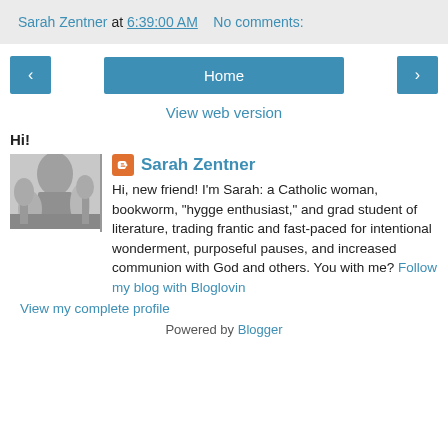Sarah Zentner at 6:39:00 AM   No comments:
‹  Home  ›  View web version
Hi!
[Figure (photo): Black and white photo of a person near trees/outdoor scene]
Sarah Zentner
Hi, new friend! I'm Sarah: a Catholic woman, bookworm, "hygge enthusiast," and grad student of literature, trading frantic and fast-paced for intentional wonderment, purposeful pauses, and increased communion with God and others. You with me? Follow my blog with Bloglovin
View my complete profile
Powered by Blogger